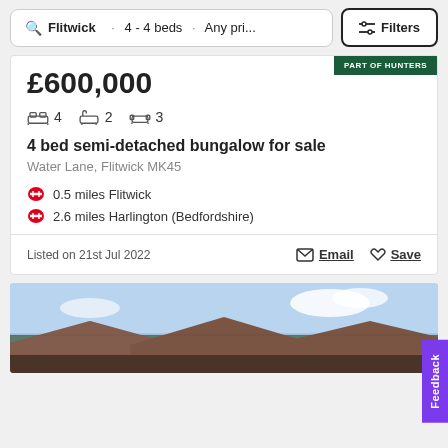Flitwick · 4 - 4 beds · Any pri... | Filters
£600,000
4 beds · 2 bathrooms · 3 reception rooms
4 bed semi-detached bungalow for sale
Water Lane, Flitwick MK45
0.5 miles Flitwick
2.6 miles Harlington (Bedfordshire)
Listed on 21st Jul 2022
Email  Save
[Figure (photo): Exterior photo of semi-detached bungalow rooftop against blue sky]